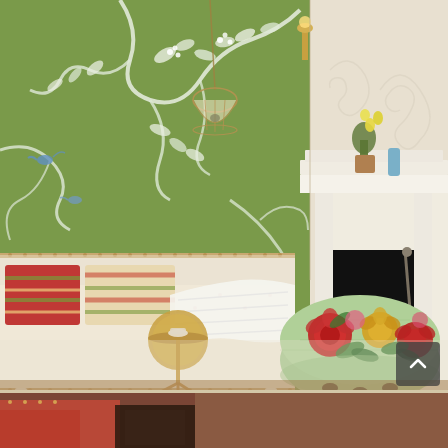[Figure (photo): Interior design photo showing a living room with a green chinoiserie wallpaper featuring white floral branches and birds. A floral-patterned sofa with colorful cushions sits against the wall. A gold side table with tripod legs stands nearby. A large round tufted ottoman upholstered in floral fabric (red, yellow, green roses) sits in the foreground right. A white ornate fireplace with a lit fire is visible on the right. A potted yellow orchid sits on the fireplace mantel. A birdcage decoration hangs on the wall.]
[Figure (photo): Partial view of another interior scene at the bottom of the page, showing what appears to be a red/maroon sofa arm and a dark wooden furniture piece, cropped.]